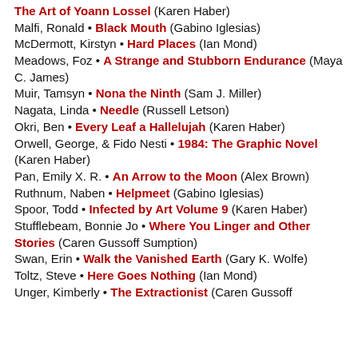The Art of Yoann Lossel (Karen Haber)
Malfi, Ronald • Black Mouth (Gabino Iglesias)
McDermott, Kirstyn • Hard Places (Ian Mond)
Meadows, Foz • A Strange and Stubborn Endurance (Maya C. James)
Muir, Tamsyn • Nona the Ninth (Sam J. Miller)
Nagata, Linda • Needle (Russell Letson)
Okri, Ben • Every Leaf a Hallelujah (Karen Haber)
Orwell, George, & Fido Nesti • 1984: The Graphic Novel (Karen Haber)
Pan, Emily X. R. • An Arrow to the Moon (Alex Brown)
Ruthnum, Naben • Helpmeet (Gabino Iglesias)
Spoor, Todd • Infected by Art Volume 9 (Karen Haber)
Stufflebeam, Bonnie Jo • Where You Linger and Other Stories (Caren Gussoff Sumption)
Swan, Erin • Walk the Vanished Earth (Gary K. Wolfe)
Toltz, Steve • Here Goes Nothing (Ian Mond)
Unger, Kimberly • The Extractionist (Caren Gussoff